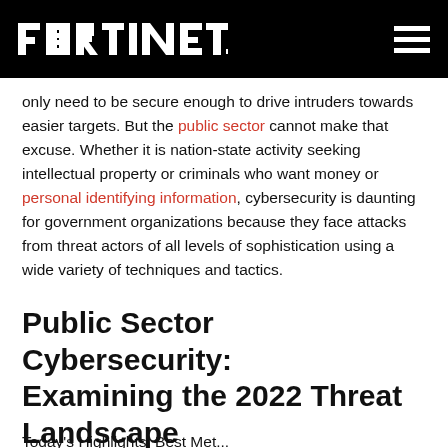FORTINET
only need to be secure enough to drive intruders towards easier targets. But the public sector cannot make that excuse. Whether it is nation-state activity seeking intellectual property or criminals who want money or personal identifying information, cybersecurity is daunting for government organizations because they face attacks from threat actors of all levels of sophistication using a wide variety of techniques and tactics.
Public Sector Cybersecurity: Examining the 2022 Threat Landscape
Today’s Highlights: Best Met...